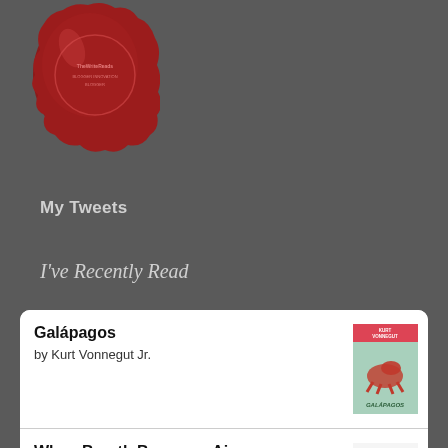[Figure (logo): Red wax seal logo with text 'TheWriteReads' in circular stamp design]
My Tweets
I've Recently Read
Galápagos by Kurt Vonnegut Jr.
When Breath Becomes Air by Paul Kalanithi
Cat's Cradle by Kurt Vonnegut Jr.